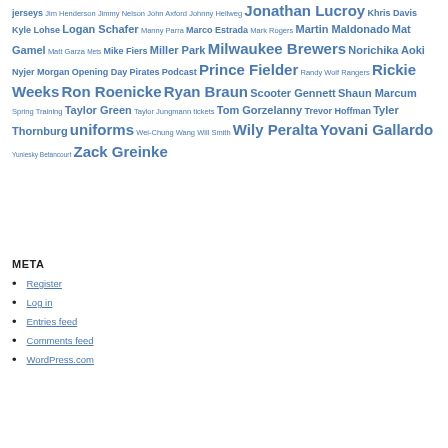jerseys Jim Henderson Jimmy Nelson John Axford Johnny Hellweg Jonathan Lucroy Khris Davis Kyle Lohse Logan Schafer Manny Parra Marco Estrada Mark Rogers Martin Maldonado Mat Gamel Matt Garza Mets Mike Fiers Miller Park Milwaukee Brewers Norichika Aoki Nyjer Morgan Opening Day Pirates Podcast Prince Fielder Randy Wolf Rangers Rickie Weeks Ron Roenicke Ryan Braun Scooter Gennett Shaun Marcum Spring Training Taylor Green Taylor Jungmann tickets Tom Gorzelanny Trevor Hoffman Tyler Thornburg uniforms Wei-Chung Wang Will Smith Wily Peralta Yovani Gallardo Yuniesky Betancourt Zack Greinke
META
Register
Log in
Entries feed
Comments feed
WordPress.com